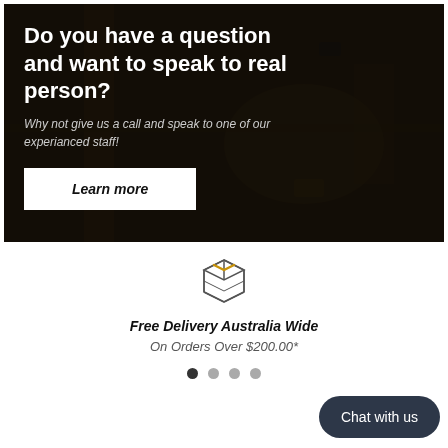[Figure (photo): Hero banner with dark overlay on aerial/top-down view of construction or road scene]
Do you have a question and want to speak to real person?
Why not give us a call and speak to one of our experianced staff!
Learn more
[Figure (illustration): Box/package icon outline with yellow stripe on lid]
Free Delivery Australia Wide
On Orders Over $200.00*
Chat with us